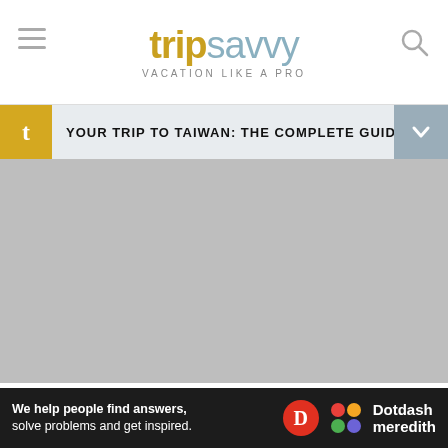[Figure (logo): TripSavvy logo with hamburger menu icon on left and search icon on right. Logo shows 'trip' in gold bold and 'savvy' in light blue, with tagline 'VACATION LIKE A PRO'.]
YOUR TRIP TO TAIWAN: THE COMPLETE GUIDE
[Figure (photo): Gray placeholder image of a location in Wulai, Taiwan. Credit: atosan / Getty Images]
atosan / Getty Images
Wulai is the northernmost settlement for Atayal, Taiwan's second largest Aboriginal group who have
[Figure (other): Dotdash Meredith advertisement banner: 'We help people find answers, solve problems and get inspired.']